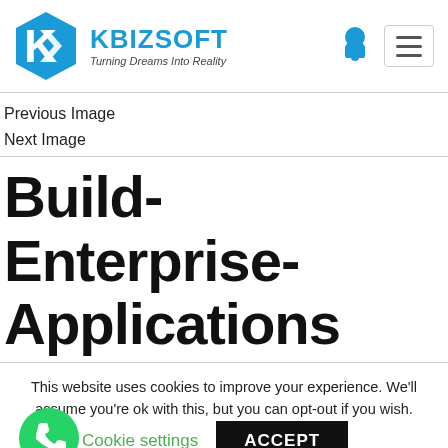[Figure (logo): Kbizsoft logo with hexagonal K icon in blue and text 'KBIZSOFT Turning Dreams Into Reality']
Previous Image
Next Image
Build-Enterprise-Applications
This website uses cookies to improve your experience. We'll assume you're ok with this, but you can opt-out if you wish.
Cookie settings   ACCEPT